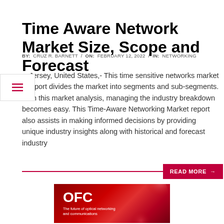Time Aware Network Market Size, Scope and Forecast
BY:  CRUZ R. BARNETT  /  ON:  FEBRUARY 12, 2022  /  IN:  NETWORKING
w Jersey, United States,- This time sensitive networks market e report divides the market into segments and sub-segments. With this market analysis, managing the industry breakdown becomes easy. This Time-Aware Networking Market report also assists in making informed decisions by providing unique industry insights along with historical and forecast industry
[Figure (other): Red OFC logo image with text 'OFC - The future of optical networking and communications' on a dark red background with bokeh circles]